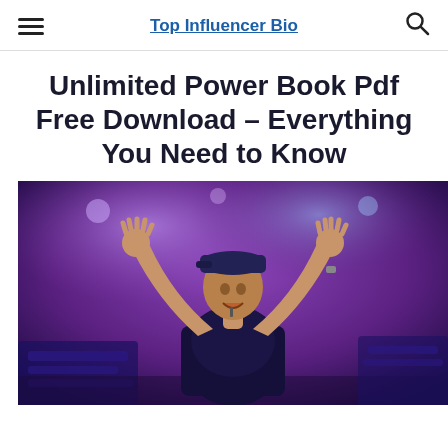Top Influencer Bio
Unlimited Power Book Pdf Free Download – Everything You Need to Know
[Figure (photo): A male motivational speaker on stage with arms raised, wearing a dark shirt and cap, against a purple/blue stage lighting background with audience visible.]